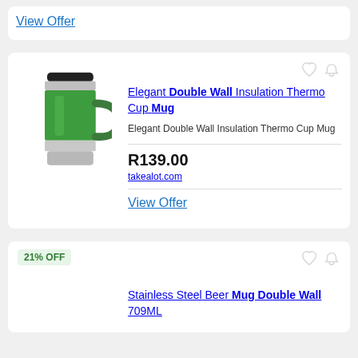View Offer
[Figure (photo): Green and silver insulated thermo cup mug with black lid and handle]
Elegant Double Wall Insulation Thermo Cup Mug
Elegant Double Wall Insulation Thermo Cup Mug
R139.00
takealot.com
View Offer
21% OFF
Stainless Steel Beer Mug Double Wall 709ML